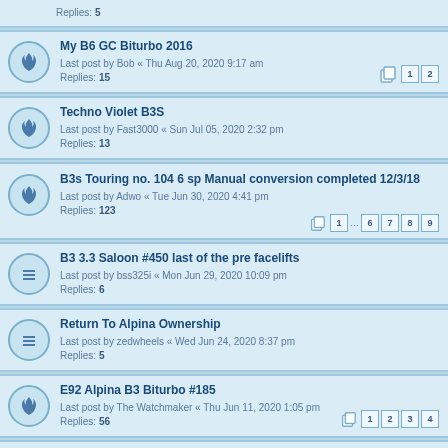Replies: 5
My B6 GC Biturbo 2016 — Last post by Bob « Thu Aug 20, 2020 9:17 am — Replies: 15
Techno Violet B3S — Last post by Fast3000 « Sun Jul 05, 2020 2:32 pm — Replies: 13
B3s Touring no. 104 6 sp Manual conversion completed 12/3/18 — Last post by Adwo « Tue Jun 30, 2020 4:41 pm — Replies: 123
B3 3.3 Saloon #450 last of the pre facelifts — Last post by bss325i « Mon Jun 29, 2020 10:09 pm — Replies: 6
Return To Alpina Ownership — Last post by zedwheels « Wed Jun 24, 2020 8:37 pm — Replies: 5
E92 Alpina B3 Biturbo #185 — Last post by The Watchmaker « Thu Jun 11, 2020 1:05 pm — Replies: 56
New owner of no 71 e39 1997 4.6 alpina — Last post by gadin « Mon Jun 01, 2020 9:14 am
Wheel Refurb — Last post by MickB3 « Thu May 28, 2020 10:47 am — Replies: 10